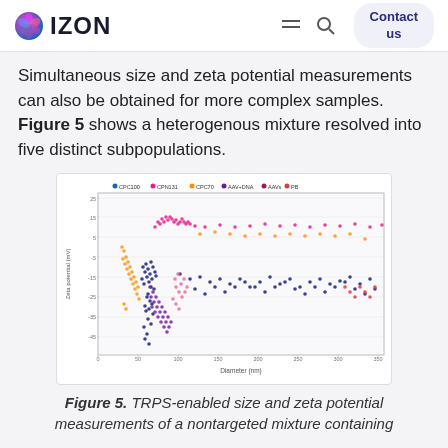IZON | Contact us
Simultaneous size and zeta potential measurements can also be obtained for more complex samples. Figure 5 shows a heterogenous mixture resolved into five distinct subpopulations.
[Figure (scatter-plot): Scatter plot of Zeta potential (mV) vs Diameter (nm) showing five distinct subpopulations: CPC100, CPN131, CPC70, AAV+DNA, AAVs, PB. Points are color-coded by subpopulation and show clustering at different size and zeta potential ranges.]
Figure 5. TRPS-enabled size and zeta potential measurements of a nontargeted mixture containing...